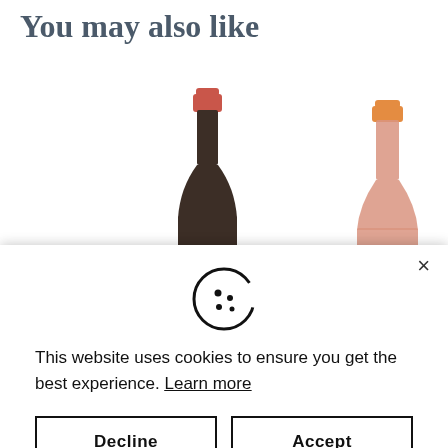You may also like
[Figure (photo): Red wine bottle with red cap and white label showing 'YA' text, dark glass bottle]
[Figure (photo): Rosé wine bottle with orange cap, light pink/salmon colored glass bottle]
[Figure (screenshot): Cookie consent popup modal with cookie icon, text, and Decline/Accept buttons]
This website uses cookies to ensure you get the best experience. Learn more
[Figure (photo): Green wine bottle partially visible at bottom of page]